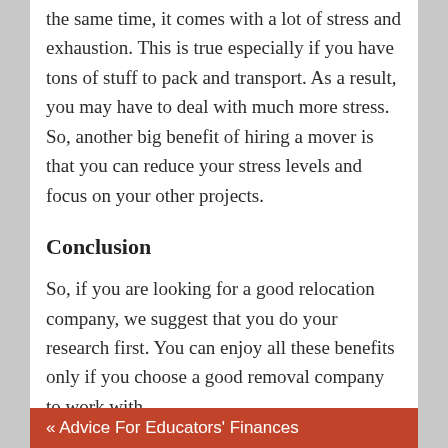the same time, it comes with a lot of stress and exhaustion. This is true especially if you have tons of stuff to pack and transport. As a result, you may have to deal with much more stress. So, another big benefit of hiring a mover is that you can reduce your stress levels and focus on your other projects.
Conclusion
So, if you are looking for a good relocation company, we suggest that you do your research first. You can enjoy all these benefits only if you choose a good removal company to work with.
« Advice For Educators' Finances